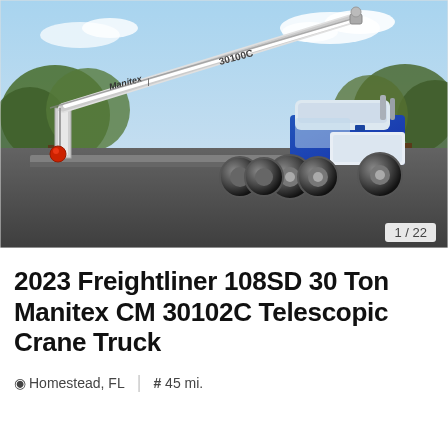[Figure (photo): A 2023 Freightliner 108SD truck with a Manitex CM 30102C 30-ton telescopic crane boom extended diagonally upward to the left, parked on a paved lot with trees and a blue sky in the background. The boom is white with 'Manitex' branding and '30100C' label. A red ball weight hangs from the crane hook.]
1 / 22
2023 Freightliner 108SD 30 Ton Manitex CM 30102C Telescopic Crane Truck
Homestead, FL   |   # 45 mi.